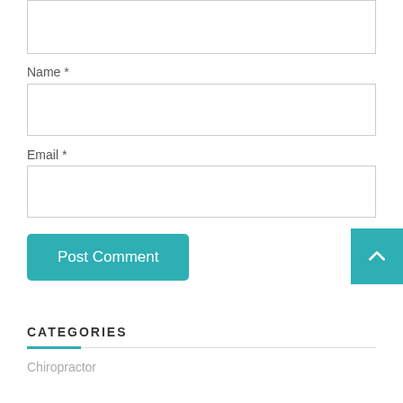[Figure (screenshot): Top portion of a web comment form showing a textarea box (partially visible at top)]
Name *
[Figure (screenshot): Name input text field]
Email *
[Figure (screenshot): Email input text field]
Post Comment
CATEGORIES
Chiropractor